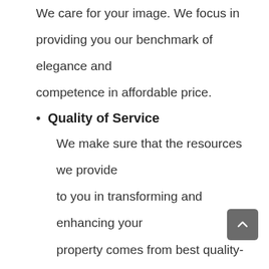We care for your image.  We focus in providing you our benchmark of elegance and competence in affordable price.
Quality of Service
We make sure that the resources we provide to you in transforming and enhancing your property comes from best quality-driven installment. Qua Save lity is our most paramount consideration.
Creativity is our Language
We employ design beyond trends as we innovate and create memories in your